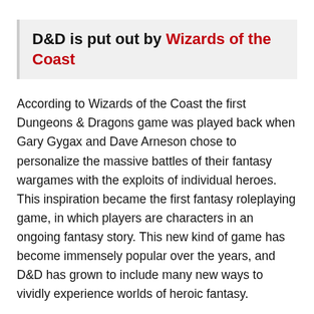D&D is put out by Wizards of the Coast
According to Wizards of the Coast the first Dungeons & Dragons game was played back when Gary Gygax and Dave Arneson chose to personalize the massive battles of their fantasy wargames with the exploits of individual heroes. This inspiration became the first fantasy roleplaying game, in which players are characters in an ongoing fantasy story. This new kind of game has become immensely popular over the years, and D&D has grown to include many new ways to vividly experience worlds of heroic fantasy.
The core of D&D is storytelling. You and your friends tell a story together, guiding your heroes through quests for treasure, battles with deadly foes, daring rescues.